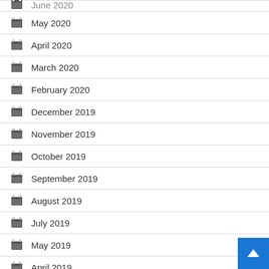June 2020
May 2020
April 2020
March 2020
February 2020
December 2019
November 2019
October 2019
September 2019
August 2019
July 2019
May 2019
April 2019
March 2019